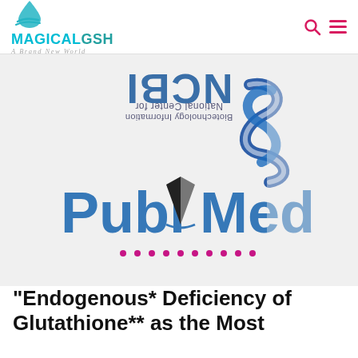MAGICALGSH A Brand New World
[Figure (logo): PubMed / NCBI logo — shows the NCBI text and double-helix snake emblem above the bold PubMed logotype with open-book graphic replacing the letter L. NCBI text and tagline appear upside-down above.]
"Endogenous* Deficiency of Glutathione** as the Most